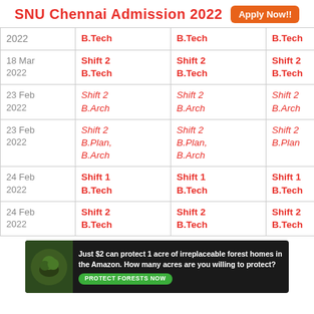SNU Chennai Admission 2022  Apply Now!!
| Date | Shift/Program | Shift/Program | Shift/Program |
| --- | --- | --- | --- |
| 2022 | B.Tech | B.Tech | B.Tech |
| 18 Mar 2022 | Shift 2 B.Tech | Shift 2 B.Tech | Shift 2 B.Tech |
| 23 Feb 2022 | Shift 2 B.Arch | Shift 2 B.Arch | Shift 2 B.Arch |
| 23 Feb 2022 | Shift 2 B.Plan, B.Arch | Shift 2 B.Plan, B.Arch | Shift 2 B.Plan |
| 24 Feb 2022 | Shift 1 B.Tech | Shift 1 B.Tech | Shift 1 B.Tech |
| 24 Feb 2022 | Shift 2 B.Tech | Shift 2 B.Tech | Shift 2 B.Tech |
[Figure (infographic): Advertisement banner: Just $2 can protect 1 acre of irreplaceable forest homes in the Amazon. How many acres are you willing to protect? PROTECT FORESTS NOW]